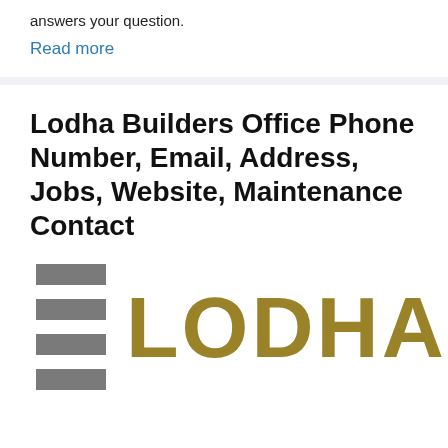answers your question.
Read more
Lodha Builders Office Phone Number, Email, Address, Jobs, Website, Maintenance Contact
[Figure (logo): Lodha company logo with three grey horizontal bars on the left and 'LODHA' in large gold/olive colored bold letters on the right]